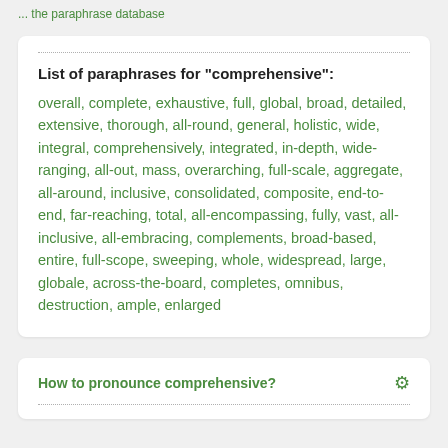... the paraphrase database
List of paraphrases for "comprehensive":
overall, complete, exhaustive, full, global, broad, detailed, extensive, thorough, all-round, general, holistic, wide, integral, comprehensively, integrated, in-depth, wide-ranging, all-out, mass, overarching, full-scale, aggregate, all-around, inclusive, consolidated, composite, end-to-end, far-reaching, total, all-encompassing, fully, vast, all-inclusive, all-embracing, complements, broad-based, entire, full-scope, sweeping, whole, widespread, large, globale, across-the-board, completes, omnibus, destruction, ample, enlarged
How to pronounce comprehensive?